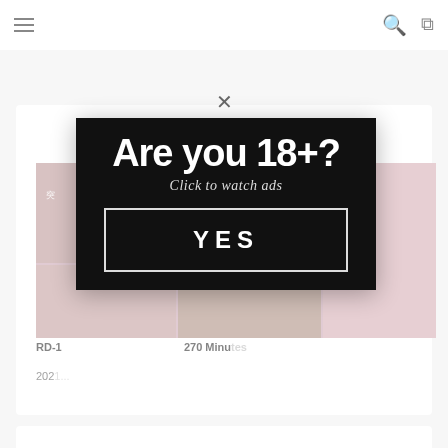≡  🔍  ⤢
[Figure (screenshot): Website page showing adult content thumbnails with Japanese text, partially visible behind modal overlay]
RD-1... 270 Minutes
202...
[Figure (screenshot): Age verification modal popup with black background showing 'Are you 18+?' in large bold white text, 'Click to watch ads' in italic below, and a YES button with border]
[Figure (screenshot): Bottom partial card showing more adult content thumbnails]